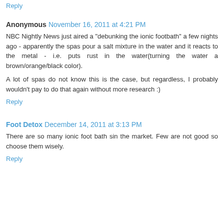Reply
Anonymous  November 16, 2011 at 4:21 PM
NBC Nightly News just aired a "debunking the ionic footbath" a few nights ago - apparently the spas pour a salt mixture in the water and it reacts to the metal - i.e. puts rust in the water(turning the water a brown/orange/black color).
A lot of spas do not know this is the case, but regardless, I probably wouldn't pay to do that again without more research :)
Reply
Foot Detox  December 14, 2011 at 3:13 PM
There are so many ionic foot bath sin the market. Few are not good so choose them wisely.
Reply